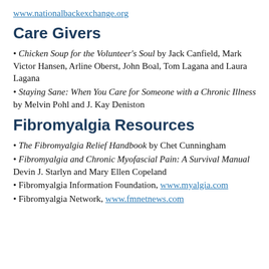www.nationalbackexchange.org
Care Givers
Chicken Soup for the Volunteer's Soul by Jack Canfield, Mark Victor Hansen, Arline Oberst, John Boal, Tom Lagana and Laura Lagana
Staying Sane: When You Care for Someone with a Chronic Illness by Melvin Pohl and J. Kay Deniston
Fibromyalgia Resources
The Fibromyalgia Relief Handbook by Chet Cunningham
Fibromyalgia and Chronic Myofascial Pain: A Survival Manual Devin J. Starlyn and Mary Ellen Copeland
Fibromyalgia Information Foundation, www.myalgia.com
Fibromyalgia Network, www.fmnetnews.com